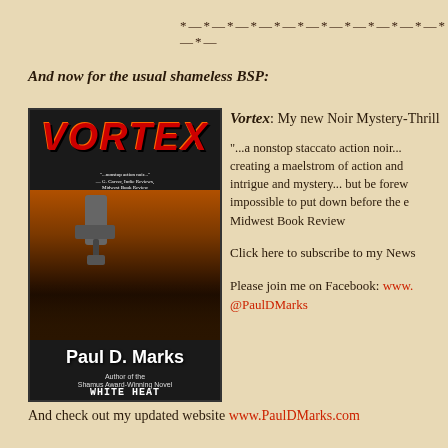*—*—*—*—*—*—*—*—*—*—*—*—*—
And now for the usual shameless BSP:
[Figure (illustration): Book cover for VORTEX by Paul D. Marks, showing a figure holding a gun against a city skyline at night, with red title text. Subtitle: Author of the Shamus Award-Winning Novel WHITE HEAT]
Vortex: My new Noir Mystery-Thriller
"...a nonstop staccato action noir... creating a maelstrom of action and intrigue and mystery... but be forewarned, impossible to put down before the end... Midwest Book Review
Click here to subscribe to my Newsletter
Please join me on Facebook: www. @PaulDMarks
And check out my updated website www.PaulDMarks.com